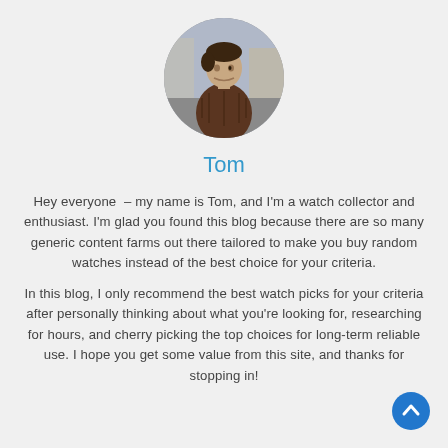[Figure (photo): Circular profile photo of a young man wearing a brown puffer jacket, standing outdoors.]
Tom
Hey everyone  – my name is Tom, and I'm a watch collector and enthusiast. I'm glad you found this blog because there are so many generic content farms out there tailored to make you buy random watches instead of the best choice for your criteria.
In this blog, I only recommend the best watch picks for your criteria after personally thinking about what you're looking for, researching for hours, and cherry picking the top choices for long-term reliable use. I hope you get some value from this site, and thanks for stopping in!